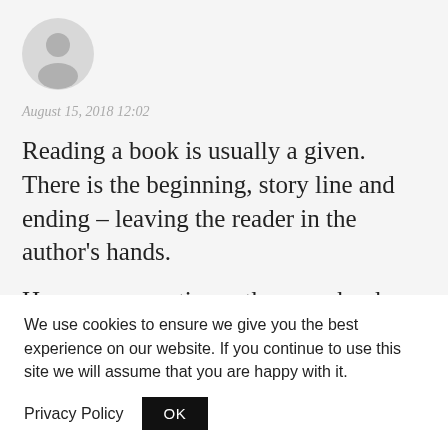[Figure (illustration): Default user avatar circle with grey silhouette of a person]
August 15, 2018 12:02
Reading a book is usually a given. There is the beginning, story line and ending – leaving the reader in the author's hands.
However, sometimes, there are books
We use cookies to ensure we give you the best experience on our website. If you continue to use this site we will assume that you are happy with it.
Privacy Policy
OK